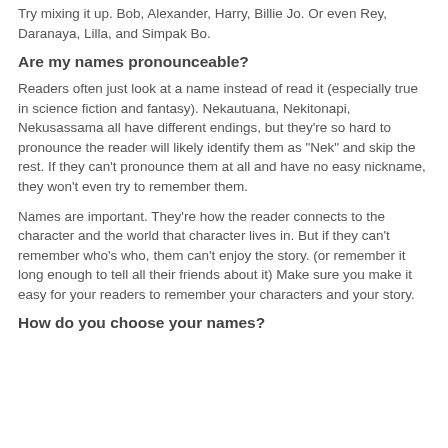Try mixing it up. Bob, Alexander, Harry, Billie Jo. Or even Rey, Daranaya, Lilla, and Simpak Bo.
Are my names pronounceable?
Readers often just look at a name instead of read it (especially true in science fiction and fantasy). Nekautuana, Nekitonapi, Nekusassama all have different endings, but they're so hard to pronounce the reader will likely identify them as "Nek" and skip the rest. If they can't pronounce them at all and have no easy nickname, they won't even try to remember them.
Names are important. They're how the reader connects to the character and the world that character lives in. But if they can't remember who's who, them can't enjoy the story. (or remember it long enough to tell all their friends about it) Make sure you make it easy for your readers to remember your characters and your story.
How do you choose your names?